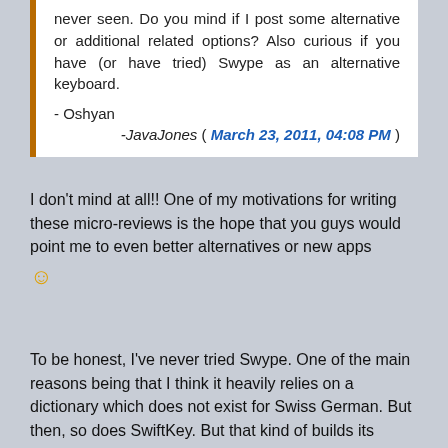never seen. Do you mind if I post some alternative or additional related options? Also curious if you have (or have tried) Swype as an alternative keyboard.

- Oshyan

-JavaJones ( March 23, 2011, 04:08 PM )
I don't mind at all!! One of my motivations for writing these micro-reviews is the hope that you guys would point me to even better alternatives or new apps 🙂
To be honest, I've never tried Swype. One of the main reasons being that I think it heavily relies on a dictionary which does not exist for Swiss German. But then, so does SwiftKey. But that kind of builds its dictionary while using it (it can also analyse your